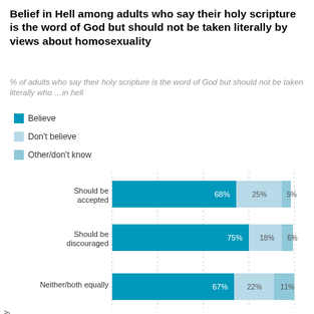Belief in Hell among adults who say their holy scripture is the word of God but should not be taken literally by views about homosexuality
% of adults who say their holy scripture is the word of God but should not be taken literally who ...in hell
[Figure (stacked-bar-chart): Belief in Hell by views about homosexuality]